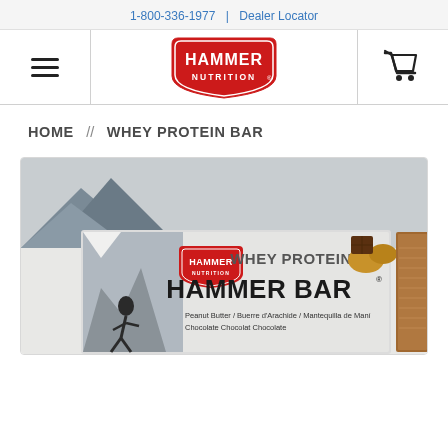1-800-336-1977 | Dealer Locator
[Figure (logo): Hammer Nutrition red shield logo with hamburger menu on left and shopping cart icon on right in navigation bar]
HOME // WHEY PROTEIN BAR
[Figure (photo): Hammer Nutrition Whey Protein Hammer Bar product packaging in Peanut Butter Chocolate flavor, shown with a partial bar visible on the right side. The packaging shows a mountain climber image, the Hammer Nutrition shield logo, and multilingual flavor text in English (Peanut Butter Chocolate), French (Buerre d'Arachide Chocolat), and Spanish (Mantequilla de Maní Chocolate).]